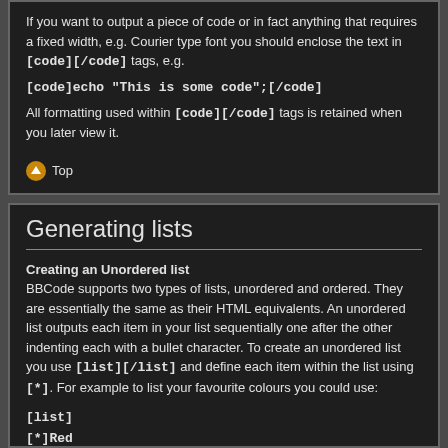If you want to output a piece of code or in fact anything that requires a fixed width, e.g. Courier type font you should enclose the text in [code][/code] tags, e.g.
[code]echo "This is some code";[/code]
All formatting used within [code][/code] tags is retained when you later view it.
Top
Generating lists
Creating an Unordered list
BBCode supports two types of lists, unordered and ordered. They are essentially the same as their HTML equivalents. An unordered list outputs each item in your list sequentially one after the other indenting each with a bullet character. To create an unordered list you use [list][/list] and define each item within the list using [*]. For example to list your favourite colours you could use:
[list]
[*]Red
[*]Blue
[*]Yellow
[/list]